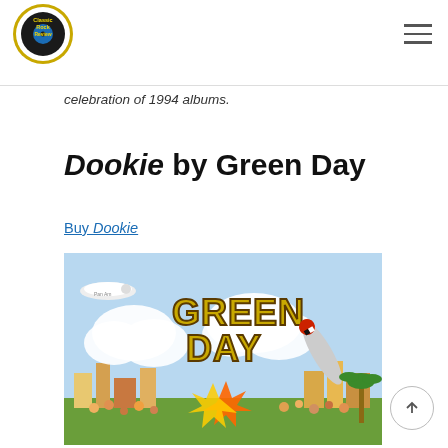Classic Rock Review [logo]
celebration of 1994 albums.
Dookie by Green Day
Buy Dookie
[Figure (illustration): Green Day Dookie album cover artwork showing cartoon scene with 'GREEN DAY' text in large yellow block letters, clouds, an airplane, a rocket ship with checkerboard pattern, explosion effects, and a crowded cartoon cityscape below.]